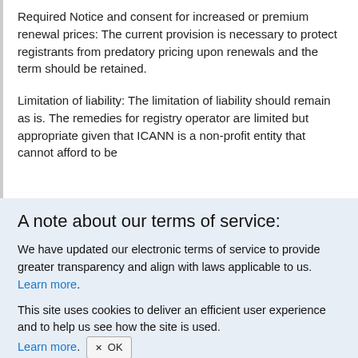Required Notice and consent for increased or premium renewal prices: The current provision is necessary to protect registrants from predatory pricing upon renewals and the term should be retained.
Limitation of liability: The limitation of liability should remain as is. The remedies for registry operator are limited but appropriate given that ICANN is a non-profit entity that cannot afford to be
A note about our terms of service:
We have updated our electronic terms of service to provide greater transparency and align with laws applicable to us. Learn more.
This site uses cookies to deliver an efficient user experience and to help us see how the site is used. Learn more. OK